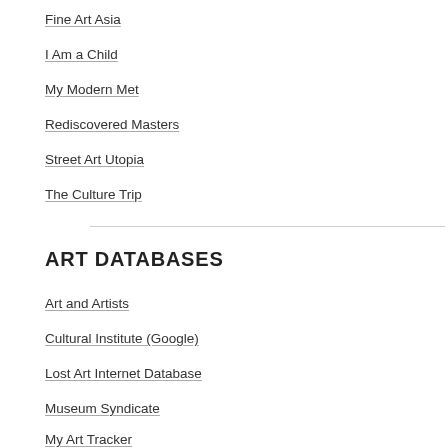Fine Art Asia
I Am a Child
My Modern Met
Rediscovered Masters
Street Art Utopia
The Culture Trip
ART DATABASES
Art and Artists
Cultural Institute (Google)
Lost Art Internet Database
Museum Syndicate
My Art Tracker